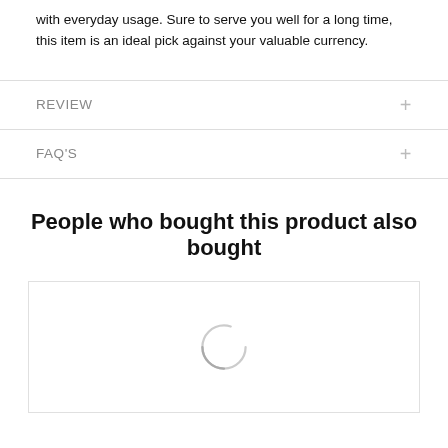with everyday usage. Sure to serve you well for a long time, this item is an ideal pick against your valuable currency.
REVIEW
FAQ'S
People who bought this product also bought
[Figure (other): Loading spinner circle partially visible, indicating content is loading]